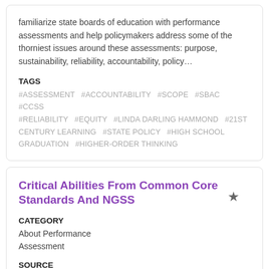familiarize state boards of education with performance assessments and help policymakers address some of the thorniest issues around these assessments: purpose, sustainability, reliability, accountability, policy…
TAGS
#ASSESSMENT  #ACCOUNTABILITY  #SCOPE  #SBAC  #CCSS  #RELIABILITY  #EQUITY  #LINDA DARLING HAMMOND  #21ST CENTURY LEARNING  #STATE POLICY  #HIGH SCHOOL GRADUATION  #HIGHER-ORDER THINKING
Critical Abilities From Common Core Standards And NGSS
CATEGORY
About Performance Assessment
SOURCE
Stanford Center For